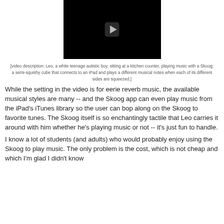[Figure (screenshot): Video player showing a black screen with a play button triangle in the center]
[video description: Leo, a white teenage autistic boy, sitting at a kitchen counter, playing music with a Skoog: a semi-squishy cube that connects to an iPad and plays a different musical notes when each of its different sides are squeezed.]
While the setting in the video is for eerie reverb music, the available musical styles are many -- and the Skoog app can even play music from the iPad's iTunes library so the user can bop along on the Skoog to favorite tunes. The Skoog itself is so enchantingly tactile that Leo carries it around with him whether he's playing music or not -- it's just fun to handle.
I know a lot of students (and adults) who would probably enjoy using the Skoog to play music. The only problem is the cost, which is not cheap and which I'm glad I didn't know